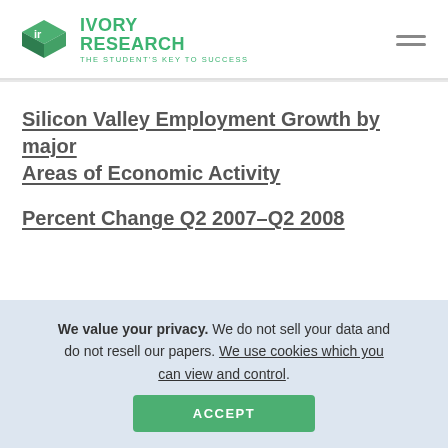IVORY RESEARCH — THE STUDENT'S KEY TO SUCCESS
Silicon Valley Employment Growth by major Areas of Economic Activity
Percent Change Q2 2007–Q2 2008
We value your privacy. We do not sell your data and do not resell our papers. We use cookies which you can view and control.